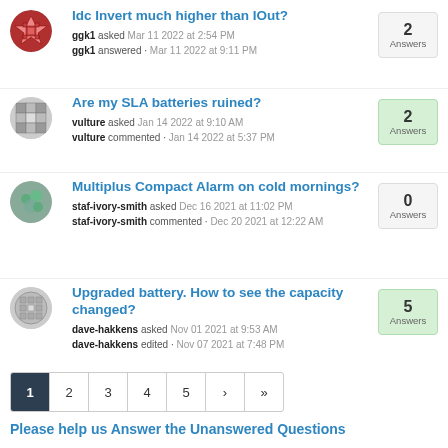Idc Invert much higher than IOut? ggk1 asked Mar 11 2022 at 2:54 PM ggk1 answered · Mar 11 2022 at 9:11 PM — 2 Answers
Are my SLA batteries ruined? vulture asked Jan 14 2022 at 9:10 AM vulture commented · Jan 14 2022 at 5:37 PM — 2 Answers
Multiplus Compact Alarm on cold mornings? staf-ivory-smith asked Dec 16 2021 at 11:02 PM staf-ivory-smith commented · Dec 20 2021 at 12:22 AM — 0 Answers
Upgraded battery. How to see the capacity changed? dave-hakkens asked Nov 01 2021 at 9:53 AM dave-hakkens edited · Nov 07 2021 at 7:48 PM — 5 Answers
1 2 3 4 5 > »
Please help us Answer the Unanswered Questions